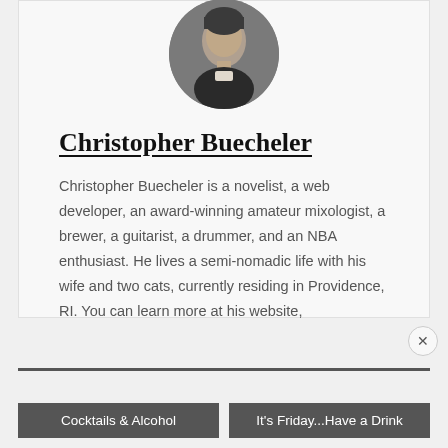[Figure (photo): Circular cropped headshot photo of Christopher Buecheler, a young man with short hair wearing a dark shirt]
Christopher Buecheler
Christopher Buecheler is a novelist, a web developer, an award-winning amateur mixologist, a brewer, a guitarist, a drummer, and an NBA enthusiast. He lives a semi-nomadic life with his wife and two cats, currently residing in Providence, RI. You can learn more at his website, cwbuecheler.com.
Cocktails & Alcohol
It's Friday...Have a Drink